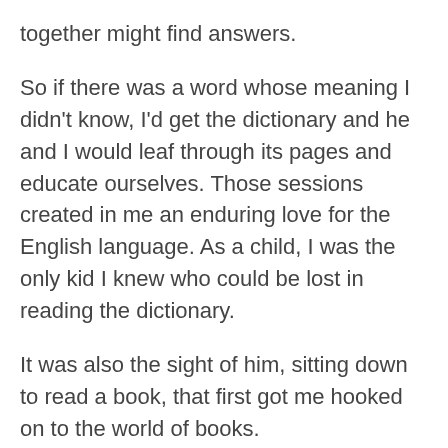together might find answers.
So if there was a word whose meaning I didn't know, I'd get the dictionary and he and I would leaf through its pages and educate ourselves. Those sessions created in me an enduring love for the English language. As a child, I was the only kid I knew who could be lost in reading the dictionary.
It was also the sight of him, sitting down to read a book, that first got me hooked on to the world of books.
He wasn't the diaper changing, baby bathing father that the '90s threw up. But Dad could always be counted on to wake up in the middle of the night, in response to his frightened daughter's cries, and peer under the bed to chase away the imaginary